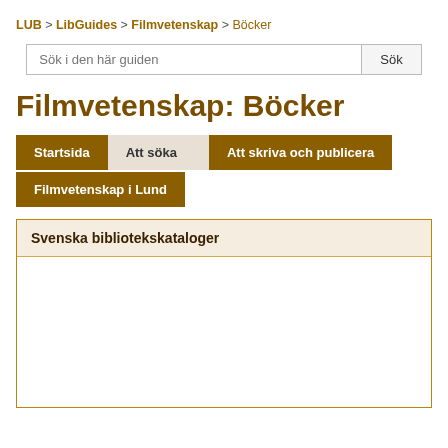LUB > LibGuides > Filmvetenskap > Böcker
Sök i den här guiden
Filmvetenskap: Böcker
Startsida | Att söka | Att skriva och publicera | Filmvetenskap i Lund
Svenska bibliotekskataloger